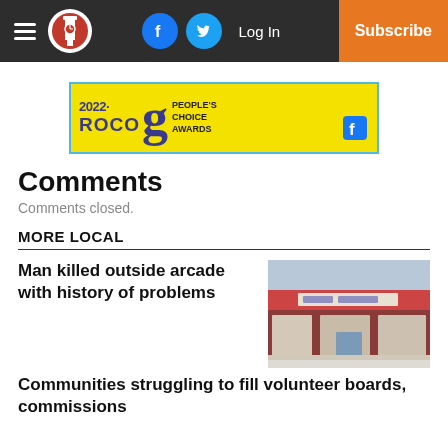Navigation bar with hamburger menu, logo, Facebook and Twitter social buttons, Log In, Subscribe
[Figure (other): ROCO People's Choice Awards banner advertisement with yellow background and blue border]
Comments
Comments closed.
MORE LOCAL
Man killed outside arcade with history of problems
[Figure (photo): Photo of a brick commercial building with storefront windows, appears to be an arcade]
Communities struggling to fill volunteer boards, commissions